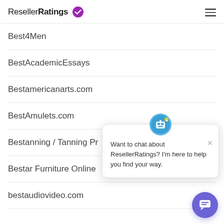ResellerRatings
Best4Men
BestAcademicEssays
Bestamericanarts.com
BestAmulets.com
Bestanning / Tanning Pr
Bestar Furniture Online
bestaudiovideo.com
[Figure (screenshot): Chat popup with bot avatar, close button (×), and message: Want to chat about ResellerRatings? I'm here to help you find your way.]
[Figure (illustration): Purple circular chat button with speech bubble icon at bottom right]